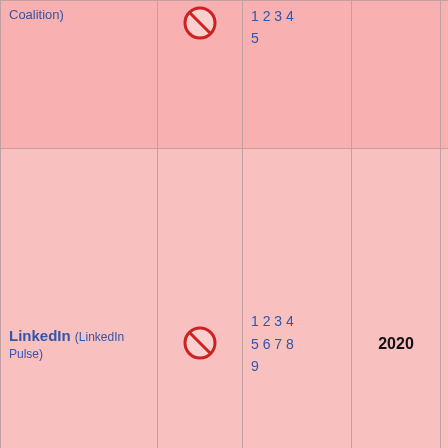| Platform | Status | References | Year | Notes |
| --- | --- | --- | --- | --- |
| Coalition) | [ban icon] | 1 2 3 4 5 |  | fa... |
| LinkedIn (LinkedIn Pulse) | [ban icon] | 1 2 3 4 5 6 7 8 9 | 2020 | Li... se... sh... ur... P... pu... th... co... by... w... cl... |
| LiveJournal | [ban icon] | 1 2 3 4 | 2020 | Li... pu... ur... ur... si... |